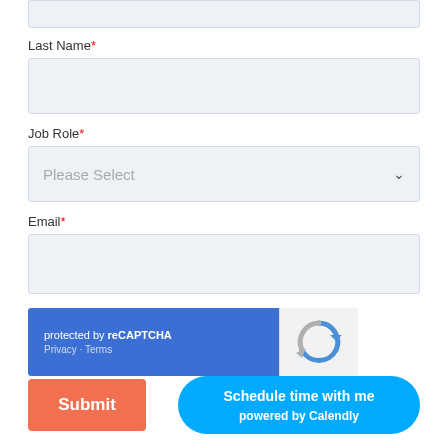[partial input field at top]
Last Name*
[Last Name input field]
Job Role*
Please Select
Email*
[Email input field]
[Figure (screenshot): reCAPTCHA widget with blue background on left showing 'protected by reCAPTCHA' and 'Privacy - Terms', and reCAPTCHA logo icon on right with grey background]
Submit
Schedule time with me
powered by Calendly